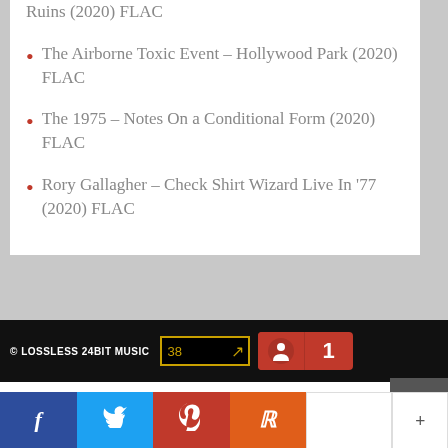Ruins (2020) FLAC
The Airborne Toxic Event – Hollywood Park (2020) FLAC
The 1975 – Notes On a Conditional Form (2020) FLAC
Rory Gallagher – Check Shirt Wizard Live In '77 (2020) FLAC
© LOSSLESS 24BIT MUSIC   38   1